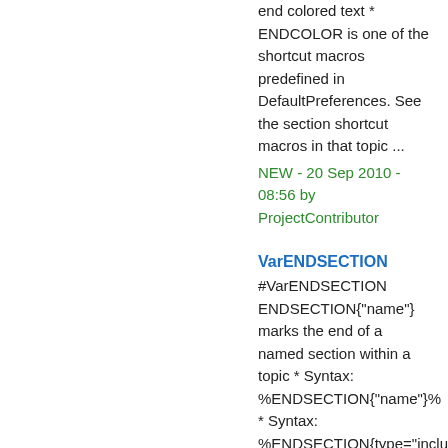end colored text * ENDCOLOR is one of the shortcut macros predefined in DefaultPreferences. See the section shortcut macros in that topic ...
NEW - 20 Sep 2010 - 08:56 by ProjectContributor
VarENDSECTION
#VarENDSECTION ENDSECTION{"name"} marks the end of a named section within a topic * Syntax: %ENDSECTION{"name"}% * Syntax: %ENDSECTION{type="include"}% ...
NEW - 07 Jan 2009 - 22:34 by ProjectContributor
VarENDTAB